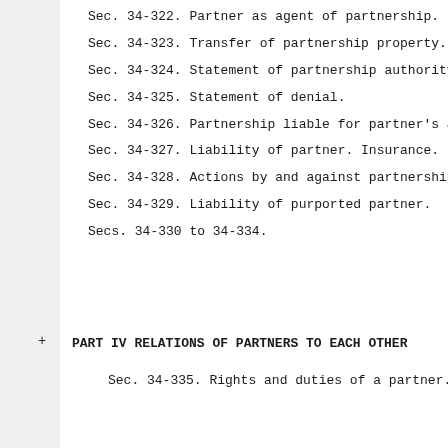Sec. 34-322. Partner as agent of partnership.
Sec. 34-323. Transfer of partnership property.
Sec. 34-324. Statement of partnership authority.
Sec. 34-325. Statement of denial.
Sec. 34-326. Partnership liable for partner's actionable cond
Sec. 34-327. Liability of partner. Insurance.
Sec. 34-328. Actions by and against partnership and partne
Sec. 34-329. Liability of purported partner.
Secs. 34-330 to 34-334.
PART IV RELATIONS OF PARTNERS TO EACH OTHER
Sec. 34-335. Rights and duties of a partner.